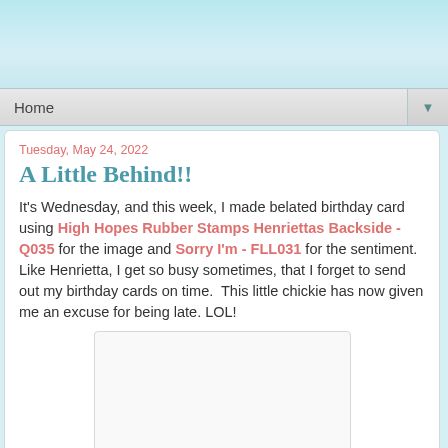[Figure (illustration): Sky and clouds decorative header background in light blue tones]
Home ▼
Tuesday, May 24, 2022
A Little Behind!!
It's Wednesday, and this week, I made belated birthday card using High Hopes Rubber Stamps Henriettas Backside - Q035 for the image and Sorry I'm - FLL031 for the sentiment. Like Henrietta, I get so busy sometimes, that I forget to send out my birthday cards on time.  This little chickie has now given me an excuse for being late. LOL!
[Figure (photo): Blank white image placeholder for birthday card photo]